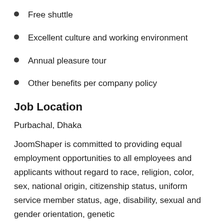Free shuttle
Excellent culture and working environment
Annual pleasure tour
Other benefits per company policy
Job Location
Purbachal, Dhaka
JoomShaper is committed to providing equal employment opportunities to all employees and applicants without regard to race, religion, color, sex, national origin, citizenship status, uniform service member status, age, disability, sexual and gender orientation, genetic